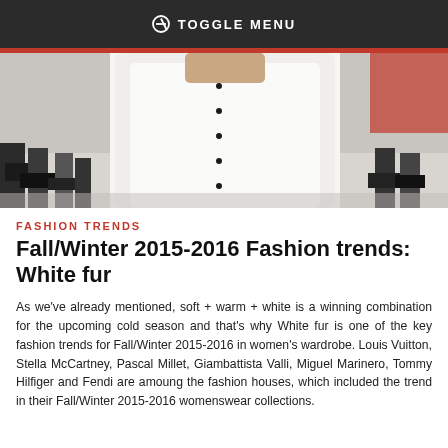TOGGLE MENU
[Figure (photo): Fashion runway photo of a model wearing a large white fur coat with black buttons, other figures visible in background]
FASHION TRENDS
Fall/Winter 2015-2016 Fashion trends: White fur
As we've already mentioned, soft + warm + white is a winning combination for the upcoming cold season and that's why White fur is one of the key fashion trends for Fall/Winter 2015-2016 in women's wardrobe. Louis Vuitton, Stella McCartney, Pascal Millet, Giambattista Valli, Miguel Marinero, Tommy Hilfiger and Fendi are amoung the fashion houses, which included the trend in their Fall/Winter 2015-2016 womenswear collections.